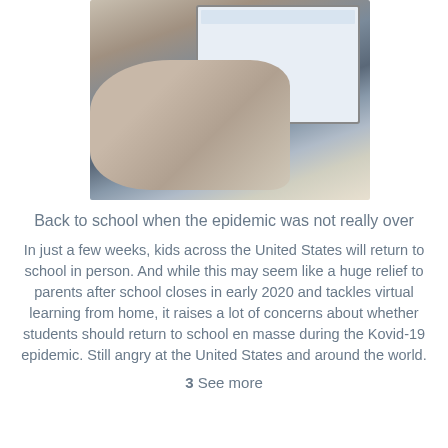[Figure (photo): A student sitting at a desk writing in a notebook while a laptop with Google visible on screen plays what appears to be an online class with multiple video participants.]
Back to school when the epidemic was not really over
In just a few weeks, kids across the United States will return to school in person. And while this may seem like a huge relief to parents after school closes in early 2020 and tackles virtual learning from home, it raises a lot of concerns about whether students should return to school en masse during the Kovid-19 epidemic. Still angry at the United States and around the world.
3 See more